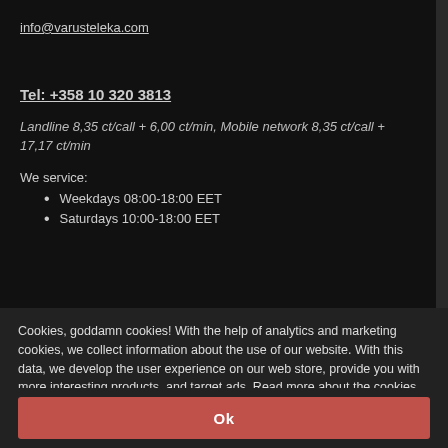info@varusteleka.com
Tel: +358 10 320 3813
Landline 8,35 ct/call + 6,00 ct/min, Mobile network 8,35 ct/call + 17,17 ct/min
We service:
Weekdays 08:00-18:00 EET
Saturdays 10:00-18:00 EET
Cookies, goddamn cookies! With the help of analytics and marketing cookies, we collect information about the use of our website. With this data, we develop the user experience on our web store, provide you with more interesting products, and target ads. Read more about the cookies and check out our Privacy Notice.
Ok